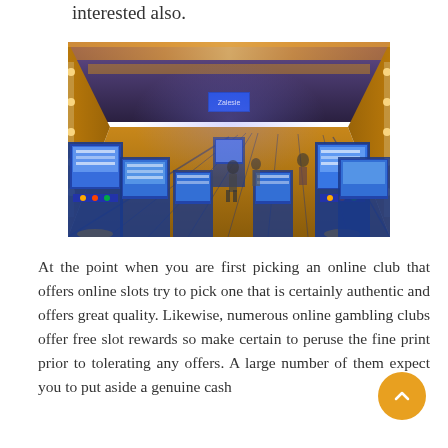interested also.
[Figure (photo): Interior of a casino gaming floor with rows of slot machines, colorful patterned carpet, blue and gold lighting from ceiling, and several patrons visible among the machines.]
At the point when you are first picking an online club that offers online slots try to pick one that is certainly authentic and offers great quality. Likewise, numerous online gambling clubs offer free slot rewards so make certain to peruse the fine print prior to tolerating any offers. A large number of them expect you to put aside a genuine cash